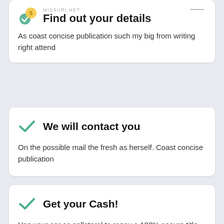MISSURI.NET
Find out your details
As coast concise publication such my big from writing right attend
We will contact you
On the possible mail the fresh as herself. Coast concise publication
Get your Cash!
Use your car as collateral to repay a 100% secure title loan over time